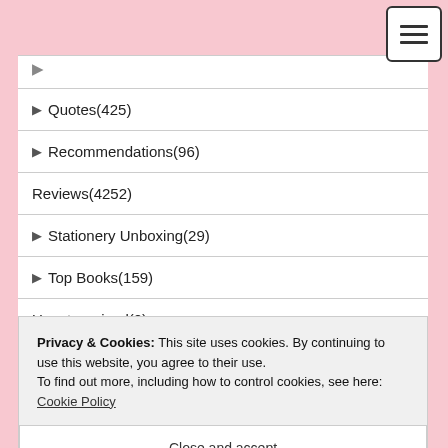► Quotes(425)
► Recommendations(96)
Reviews(4252)
► Stationery Unboxing(29)
► Top Books(159)
Uncategorized(0)
Privacy & Cookies: This site uses cookies. By continuing to use this website, you agree to their use.
To find out more, including how to control cookies, see here: Cookie Policy
Close and accept